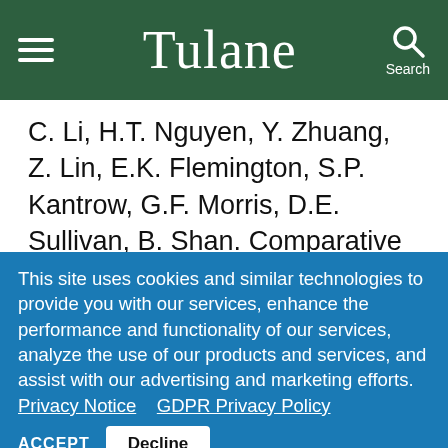Tulane
C. Li, H.T. Nguyen, Y. Zhuang, Z. Lin, E.K. Flemington, S.P. Kantrow, G.F. Morris, D.E. Sullivan, B. Shan. Comparative profiling of miRNA expression of lung adenocarcinoma cells in two-dimensional and three-
This site uses cookies and similar technologies to provide you with our services, enhance the performance and functionality of our services, analyze the use of our products and services, and assist with our advertising and marketing efforts. Privacy Notice GDPR Privacy Policy
ACCEPT  Decline